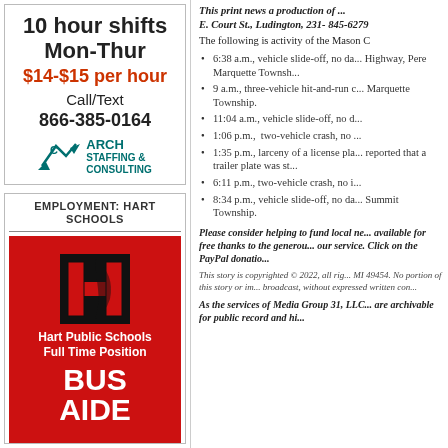10 hour shifts Mon-Thur
$14-$15 per hour
Call/Text 866-385-0164
[Figure (logo): Arch Staffing & Consulting logo]
EMPLOYMENT: HART SCHOOLS
[Figure (logo): Hart Public Schools red logo with H emblem, Full Time Position, BUS AIDE]
This print news a production of ... E. Court St., Ludington, 231-845-6279
The following is activity of the Mason C
6:38 a.m., vehicle slide-off, no da... Highway, Pere Marquette Townsh...
9 a.m., three-vehicle hit-and-run c... Marquette Township.
11:04 a.m., vehicle slide-off, no d...
1:06 p.m., two-vehicle crash, no ...
1:35 p.m., larceny of a license pla... reported that a trailer plate was st...
6:11 p.m., two-vehicle crash, no i...
8:34 p.m., vehicle slide-off, no da... Summit Township.
Please consider helping to fund local ne... available for free thanks to the generou... our service. Click on the PayPal donatio...
This story is copyrighted © 2022, all rig... MI 49454. No portion of this story or im... broadcast, without expressed written con...
As the services of Media Group 31, LLC... are archivable for public record and hi...